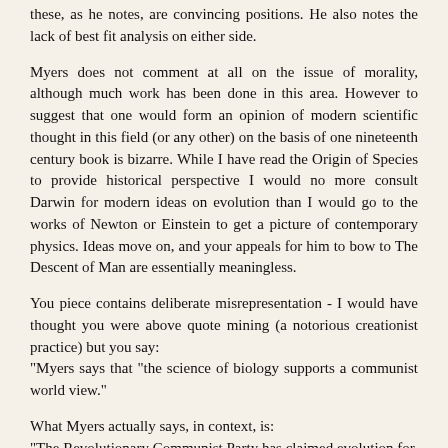these, as he notes, are convincing positions. He also notes the lack of best fit analysis on either side.
Myers does not comment at all on the issue of morality, although much work has been done in this area. However to suggest that one would form an opinion of modern scientific thought in this field (or any other) on the basis of one nineteenth century book is bizarre. While I have read the Origin of Species to provide historical perspective I would no more consult Darwin for modern ideas on evolution than I would go to the works of Newton or Einstein to get a picture of contemporary physics. Ideas move on, and your appeals for him to bow to The Descent of Man are essentially meaningless.
You piece contains deliberate misrepresentation - I would have thought you were above quote mining (a notorious creationist practice) but you say:
"Myers says that "the science of biology supports a communist world view."
What Myers actually says, in context, is:
"The Revolutionary Communist Party has claimed evolution for